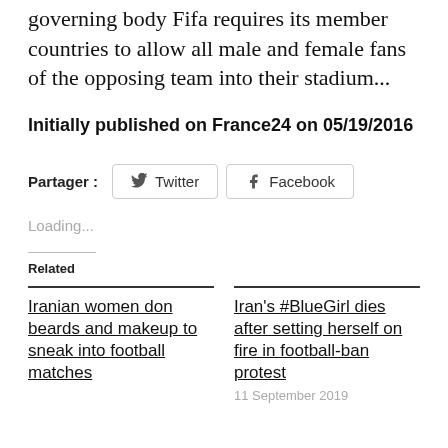governing body Fifa requires its member countries to allow all male and female fans of the opposing team into their stadium...
Initially published on France24 on 05/19/2016
Partager : Twitter Facebook
Loading...
Related
Iranian women don beards and makeup to sneak into football matches
Iran's #BlueGirl dies after setting herself on fire in football-ban protest
11 September 2019